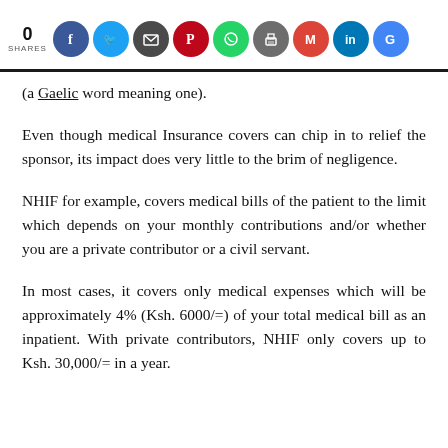0 SHARES [social share icons: Facebook, Twitter, Email, Pinterest, WhatsApp, Print, Gmail, LinkedIn, Google]
(a Gaelic word meaning one).
Even though medical Insurance covers can chip in to relief the sponsor, its impact does very little to the brim of negligence.
NHIF for example, covers medical bills of the patient to the limit which depends on your monthly contributions and/or whether you are a private contributor or a civil servant.
In most cases, it covers only medical expenses which will be approximately 4% (Ksh. 6000/=) of your total medical bill as an inpatient. With private contributors, NHIF only covers up to Ksh. 30,000/= in a year.